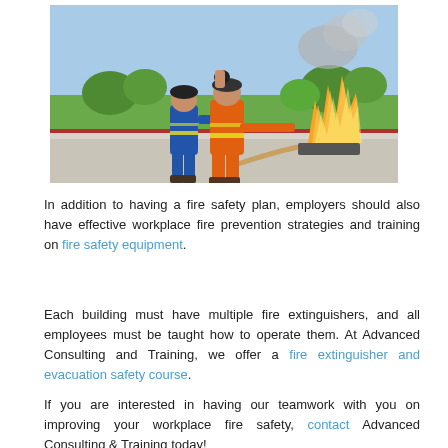[Figure (photo): Two workers in protective coveralls using a fire hose to extinguish a fire outdoors. One worker in orange high-visibility suit aims the hose at large open flames, assisted by another in blue coveralls. Green grass and trees visible in background.]
In addition to having a fire safety plan, employers should also have effective workplace fire prevention strategies and training on fire safety equipment.
Each building must have multiple fire extinguishers, and all employees must be taught how to operate them. At Advanced Consulting and Training, we offer a fire extinguisher and evacuation safety course.
If you are interested in having our teamwork with you on improving your workplace fire safety, contact Advanced Consulting & Training today!